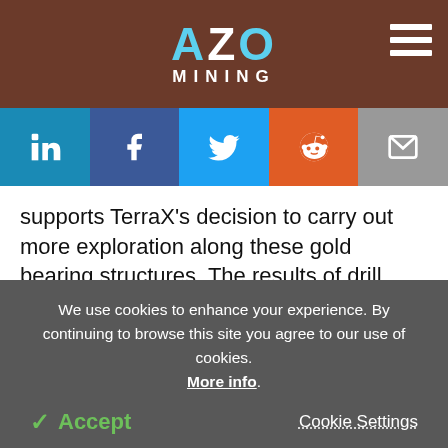AZO MINING
supports TerraX's decision to carry out more exploration along these gold bearing structures. The results of drill holes THL16-008 and TWL16-009 are summarized below:
[Figure (logo): EVIDENT logo partial]
We use cookies to enhance your experience. By continuing to browse this site you agree to our use of cookies. More info. Accept  Cookie Settings